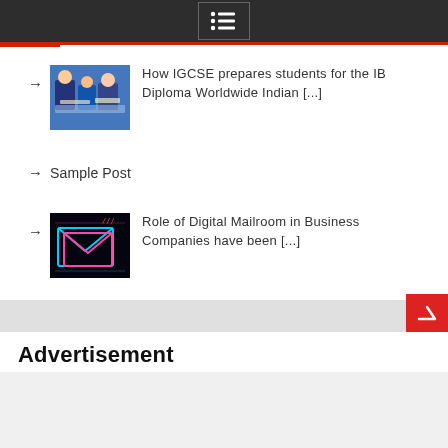Navigation menu icon
How IGCSE prepares students for the IB Diploma Worldwide Indian [...]
Sample Post
Role of Digital Mailroom in Business Companies have been [...]
Advertisement